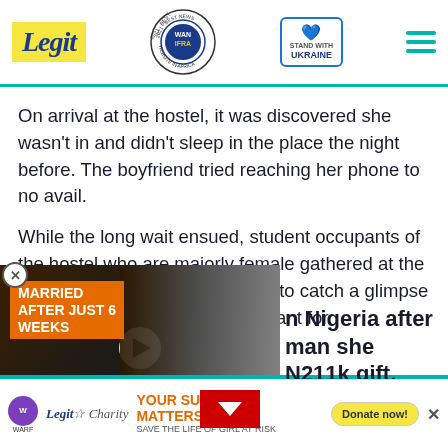Legit — WAN IFRA 2021 Best News Website in Africa — Stand with Ukraine
On arrival at the hostel, it was discovered she wasn't in and didn't sleep in the place the night before. The boyfriend tried reaching her phone to no avail.
While the long wait ensued, student occupants of the hostel who are majorly female gathered at the entrance as they curiously tried to catch a glimpse of the student the gifts were meant for.
[Figure (screenshot): Video thumbnail overlay showing a couple with text 'MARRIED AFTER JUST 6 WEEKS' and a play button]
n Nigeria after man she N211k gift, their video
[Figure (infographic): Advertisement bar: WARF / Legit Charity - YOUR SUPPORT MATTERS! SAVE THE LIFE OF GIRL AT RISK - Donate now!]